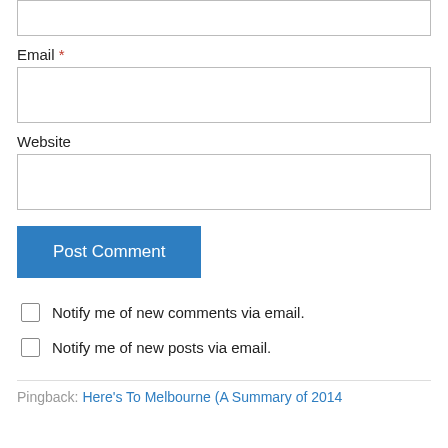Email *
Website
Post Comment
Notify me of new comments via email.
Notify me of new posts via email.
Pingback: Here's To Melbourne (A Summary of 2014